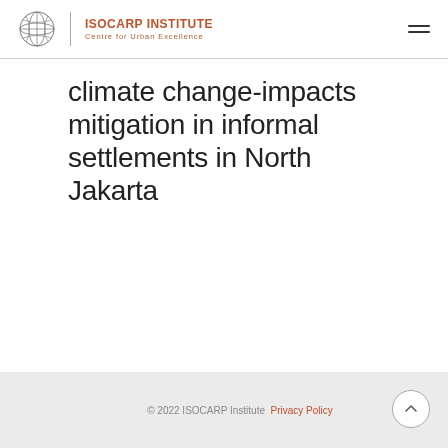ISOCARP INSTITUTE Centre for Urban Excellence
climate change-impacts mitigation in informal settlements in North Jakarta
© 2022 ISOCARP Institute  Privacy Policy